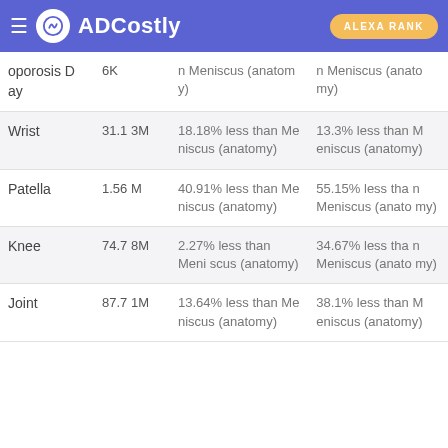ADCostly | ALEXA RANK
| Keyword | Volume | Comparison 1 | Comparison 2 |
| --- | --- | --- | --- |
| oporosis Day | 6K | n Meniscus (anatomy) | n Meniscus (anatomy) |
| Wrist | 31.13M | 18.18% less than Meniscus (anatomy) | 13.3% less than Meniscus (anatomy) |
| Patella | 1.56M | 40.91% less than Meniscus (anatomy) | 55.15% less than Meniscus (anatomy) |
| Knee | 74.78M | 2.27% less than Meniscus (anatomy) | 34.67% less than Meniscus (anatomy) |
| Joint | 87.71M | 13.64% less than Meniscus (anatomy) | 38.1% less than Meniscus (anatomy) |